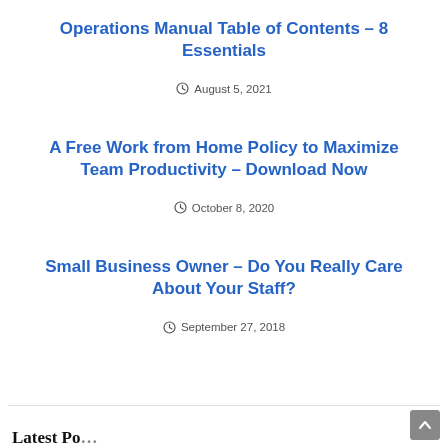Operations Manual Table of Contents – 8 Essentials
August 5, 2021
A Free Work from Home Policy to Maximize Team Productivity – Download Now
October 8, 2020
Small Business Owner – Do You Really Care About Your Staff?
September 27, 2018
Latest Po…